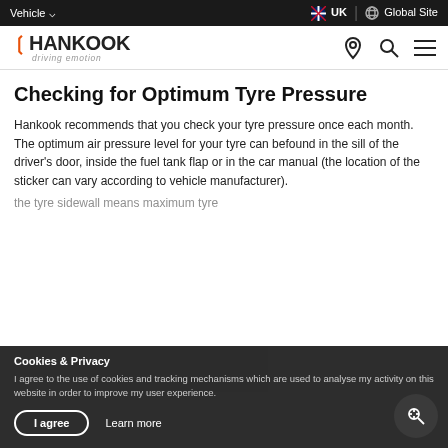Vehicle | UK | Global Site
[Figure (logo): Hankook Tyre logo with orange chevron, text 'HANKOOK' and subtitle 'driving emotion', navigation icons for location, search, and menu]
Checking for Optimum Tyre Pressure
Hankook recommends that you check your tyre pressure once each month.
The optimum air pressure level for your tyre can befound in the sill of the driver's door, inside the fuel tank flap or in the car manual (the location of the sticker can vary according to vehicle manufacturer).
the tyre sidewall means maximum tyre
Cookies & Privacy
I agree to the use of cookies and tracking mechanisms which are used to analyse my activity on this website in order to improve my user experience.
I agree   Learn more